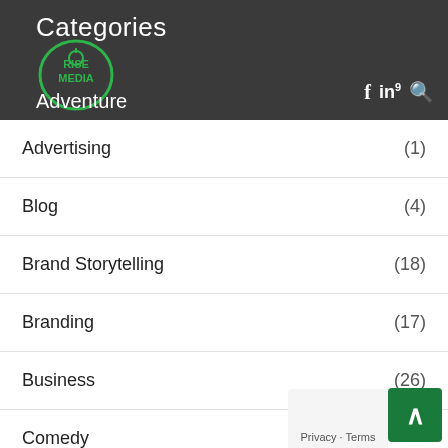Categories
Adventure (9)
Advertising (1)
Blog (4)
Brand Storytelling (18)
Branding (17)
Business (26)
Comedy